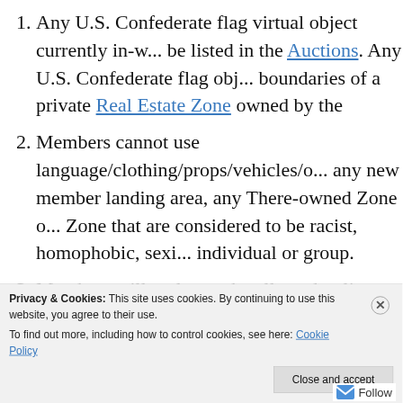Any U.S. Confederate flag virtual object currently in-w... be listed in the Auctions. Any U.S. Confederate flag obj... boundaries of a private Real Estate Zone owned by the...
Members cannot use language/clothing/props/vehicles/... any new member landing area, any There-owned Zone ... Zone that are considered to be racist, homophobic, sexi... individual or group.
Members will no longer be allowed to list “bycott (ins... blank)” props/clothing/vehicles/decorations in the Auct...
Members cannot hold/wear/drive “boycott” or “protest”... owned Zone or private member-owned Zone. Members... own private Real Estate Zones or out in the wide-open s...
Privacy & Cookies: This site uses cookies. By continuing to use this website, you agree to their use.
To find out more, including how to control cookies, see here: Cookie Policy
Close and accept